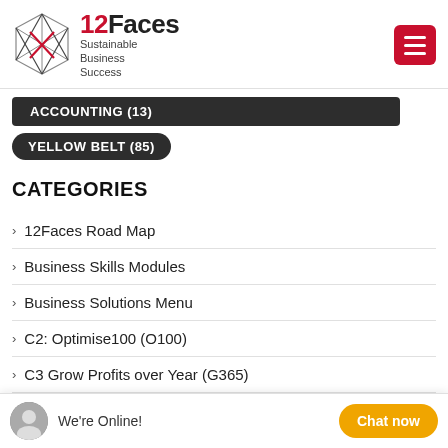[Figure (logo): 12Faces logo with geometric polyhedron shape and text '12Faces Sustainable Business Success']
ACCOUNTING (13)
YELLOW BELT (85)
CATEGORIES
12Faces Road Map
Business Skills Modules
Business Solutions Menu
C2: Optimise100 (O100)
C3 Grow Profits over Year (G365)
C4: Turnaround90
Campaigns
We're Online!
Chat now